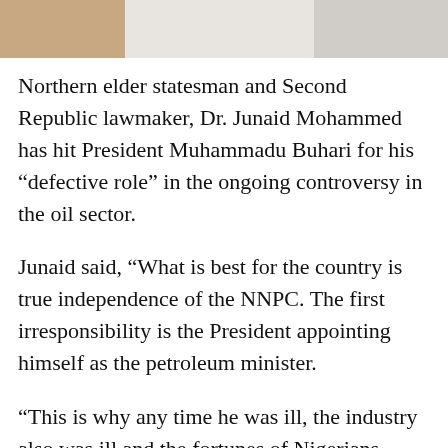[Figure (photo): Partial photo strip at top of page showing blurred figures, brownish and light tones]
Northern elder statesman and Second Republic lawmaker, Dr. Junaid Mohammed has hit President Muhammadu Buhari for his “defective role” in the ongoing controversy in the oil sector.
Junaid said, “What is best for the country is true independence of the NNPC. The first irresponsibility is the President appointing himself as the petroleum minister.
“This is why any time he was ill, the industry also was ill and the fortunes of Nigerians suffered.